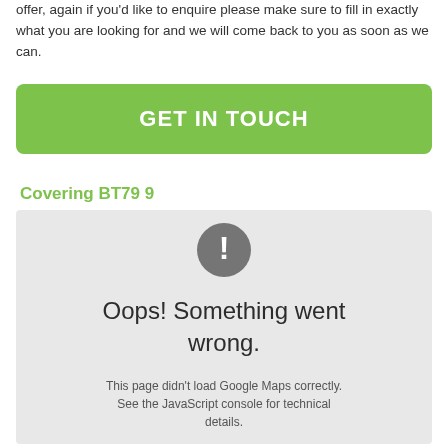offer, again if you'd like to enquire please make sure to fill in exactly what you are looking for and we will come back to you as soon as we can.
GET IN TOUCH
Covering BT79 9
[Figure (screenshot): Google Maps error screenshot showing a grey box with an exclamation mark icon and the text 'Oops! Something went wrong. This page didn't load Google Maps correctly. See the JavaScript console for technical details.']